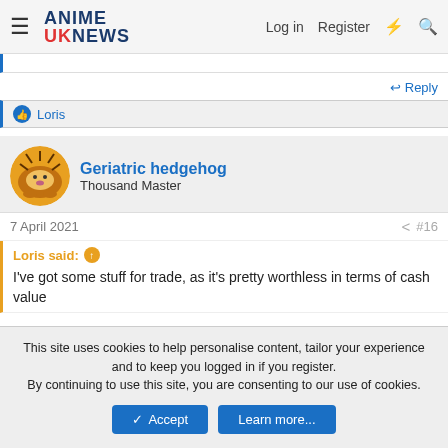ANIME UKNEWS — Log in  Register
↩ Reply
👍 Loris
Geriatric hedgehog
Thousand Master
7 April 2021  #16
Loris said: ↑
I've got some stuff for trade, as it's pretty worthless in terms of cash value
This site uses cookies to help personalise content, tailor your experience and to keep you logged in if you register.
By continuing to use this site, you are consenting to our use of cookies.
Accept  Learn more...